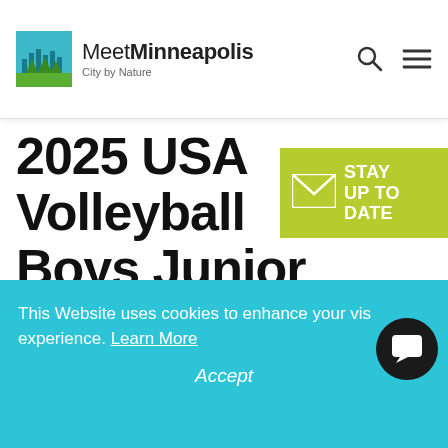Meet Minneapolis — City by Nature
2025 USA Volleyball Boys Junior National Championship Coming to Minneapolis
[Figure (infographic): Stay Up To Date email subscription badge — green rectangle with envelope icon and text 'STAY UP TO DATE']
This Website uses cookies to enhance your visiting experience. Learn More
Accept